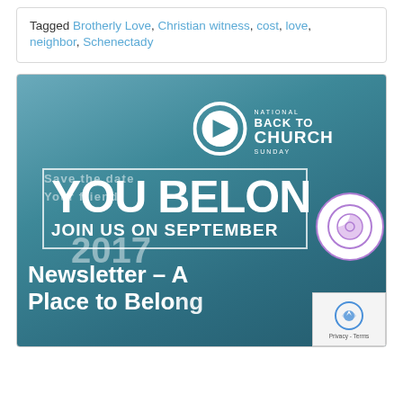Tagged Brotherly Love, Christian witness, cost, love, neighbor, Schenectady
[Figure (screenshot): National Back to Church Sunday promotional image with teal background, logo at top, large overlapping text reading 'YOU BELONG' and 'JOIN US SEPTEMBER 2017', with a newsletter title 'Newsletter – A Place to Belong' and reCAPTCHA badge at bottom right]